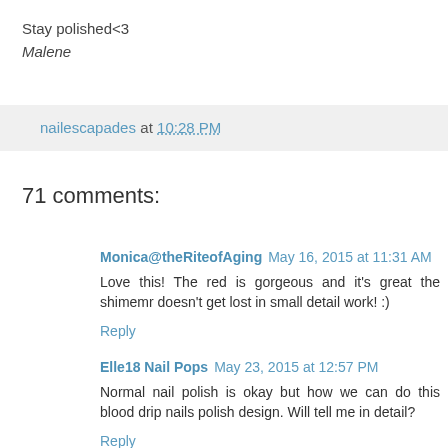Stay polished<3
Malene
nailescapades at 10:28 PM
71 comments:
Monica@theRiteofAging May 16, 2015 at 11:31 AM
Love this! The red is gorgeous and it's great the shimemr doesn't get lost in small detail work! :)
Reply
Elle18 Nail Pops May 23, 2015 at 12:57 PM
Normal nail polish is okay but how we can do this blood drip nails polish design. Will tell me in detail?
Reply